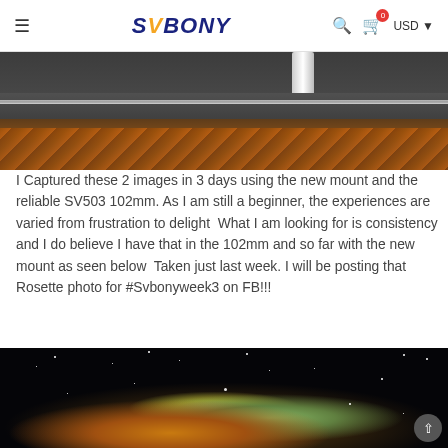SVBONY — USD
[Figure (photo): Cropped image of a telescope carrying case or box, showing dark foam padding with orange accordion-style foam cutouts and a white cylindrical telescope tube visible at the top.]
I Captured these 2 images in 3 days using the new mount and the reliable SV503 102mm. As I am still a beginner, the experiences are varied from frustration to delight  What I am looking for is consistency and I do believe I have that in the 102mm and so far with the new mount as seen below  Taken just last week. I will be posting that Rosette photo for #Svbonyweek3 on FB!!!
[Figure (photo): Astrophotography image of a nebula (likely the Flaming Star or similar emission nebula) against a deep black starfield, showing orange, yellow, and teal/green glowing gas clouds with numerous stars.]